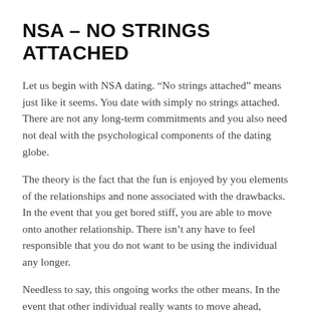NSA – NO STRINGS ATTACHED
Let us begin with NSA dating. “No strings attached” means just like it seems. You date with simply no strings attached. There are not any long-term commitments and you also need not deal with the psychological components of the dating globe.
The theory is the fact that the fun is enjoyed by you elements of the relationships and none associated with the drawbacks. In the event that you get bored stiff, you are able to move onto another relationship. There isn’t any have to feel responsible that you do not want to be using the individual any longer.
Needless to say, this ongoing works the other means. In the event that other individual really wants to move ahead, they’ve been completely within their straight to do this.